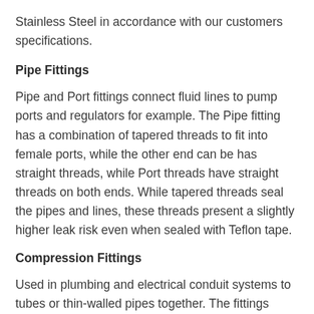Stainless Steel in accordance with our customers specifications.
Pipe Fittings
Pipe and Port fittings connect fluid lines to pump ports and regulators for example. The Pipe fitting has a combination of tapered threads to fit into female ports, while the other end can be has straight threads, while Port threads have straight threads on both ends. While tapered threads seal the pipes and lines, these threads present a slightly higher leak risk even when sealed with Teflon tape.
Compression Fittings
Used in plumbing and electrical conduit systems to tubes or thin-walled pipes together. The fittings